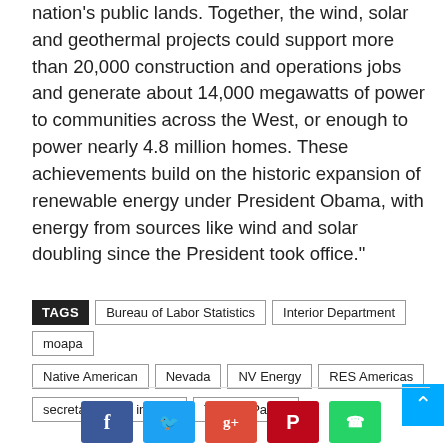nation's public lands. Together, the wind, solar and geothermal projects could support more than 20,000 construction and operations jobs and generate about 14,000 megawatts of power to communities across the West, or enough to power nearly 4.8 million homes. These achievements build on the historic expansion of renewable energy under President Obama, with energy from sources like wind and solar doubling since the President took office."
TAGS: Bureau of Labor Statistics | Interior Department | moapa | Native American | Nevada | NV Energy | RES Americas | secretary of the interior | Tribe of Paiute